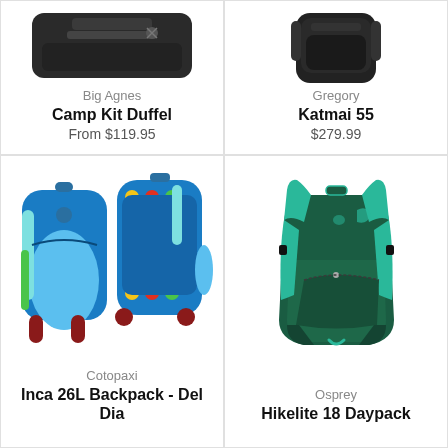[Figure (photo): Big Agnes Camp Kit Duffel bag, partially visible at top]
Big Agnes
Camp Kit Duffel
From $119.95
[Figure (photo): Gregory Katmai 55 backpack, partially visible at top]
Gregory
Katmai 55
$279.99
[Figure (photo): Cotopaxi Inca 26L Backpack - Del Dia, colorful blue and multicolored backpack shown from front and back]
Cotopaxi
Inca 26L Backpack - Del Dia
[Figure (photo): Osprey Hikelite 18 Daypack in dark green/teal color]
Osprey
Hikelite 18 Daypack